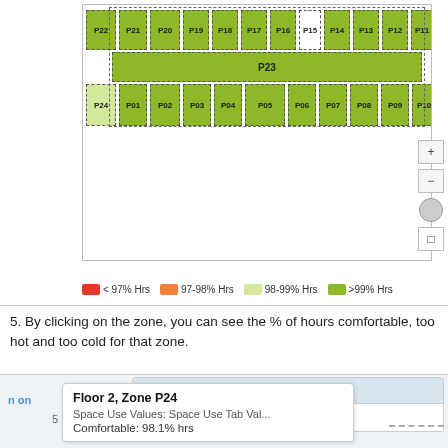[Figure (screenshot): Floor plan map showing parking zones P01-P24 color-coded by percentage of comfortable hours (>99% Hrs shown in green). Zones arranged in rows with dashed borders. Control panel with +/- buttons on right. Legend at bottom showing color scale: red <97% Hrs, orange 97-98% Hrs, light green 98-99% Hrs, dark green >99% Hrs.]
5. By clicking on the zone, you can see the % of hours comfortable, too hot and too cold for that zone.
[Figure (screenshot): Screenshot showing Floor 2 info panel with Zone Area: 125 ft2, and a tooltip popup for Floor 2, Zone P24 showing Space Use Values: Space Use Tab Val... and Comfortable: 98.1% hrs]